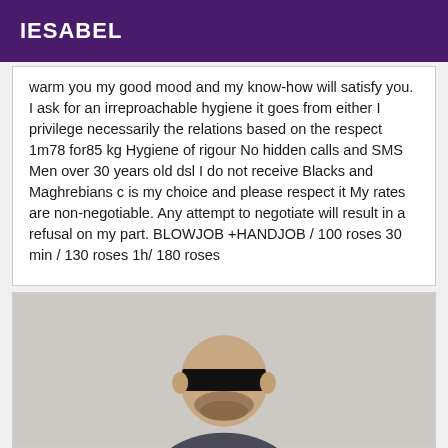IESABEL
warm you my good mood and my know-how will satisfy you. I ask for an irreproachable hygiene it goes from either I privilege necessarily the relations based on the respect 1m78 for85 kg Hygiene of rigour No hidden calls and SMS Men over 30 years old dsl I do not receive Blacks and Maghrebians c is my choice and please respect it My rates are non-negotiable. Any attempt to negotiate will result in a refusal on my part. BLOWJOB +HANDJOB / 100 roses 30 min / 130 roses 1h/ 180 roses
[Figure (photo): Photo of a bald heavyset man with a beard wearing a dark shirt, with a black redaction bar over his eyes.]